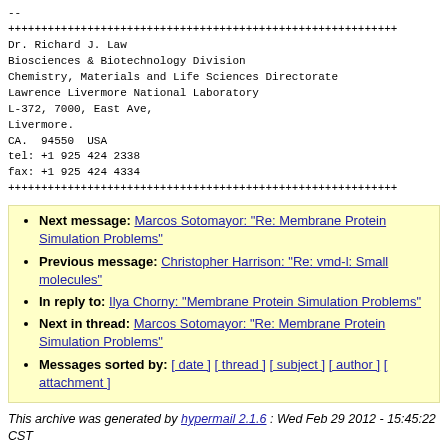--
+++++++++++++++++++++++++++++++++++++++++++++++++++++++++++
Dr. Richard J. Law
Biosciences & Biotechnology Division
Chemistry, Materials and Life Sciences Directorate
Lawrence Livermore National Laboratory
L-372, 7000, East Ave,
Livermore.
CA.  94550  USA
tel: +1 925 424 2338
fax: +1 925 424 4334
+++++++++++++++++++++++++++++++++++++++++++++++++++++++++++
Next message: Marcos Sotomayor: "Re: Membrane Protein Simulation Problems"
Previous message: Christopher Harrison: "Re: vmd-l: Small molecules"
In reply to: Ilya Chorny: "Membrane Protein Simulation Problems"
Next in thread: Marcos Sotomayor: "Re: Membrane Protein Simulation Problems"
Messages sorted by: [ date ] [ thread ] [ subject ] [ author ] [ attachment ]
This archive was generated by hypermail 2.1.6 : Wed Feb 29 2012 - 15:45:22 CST